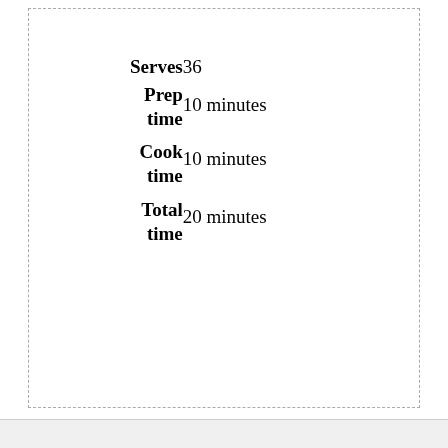| Label | Value |
| --- | --- |
| Serves | 36 |
| Prep time | 10 minutes |
| Cook time | 10 minutes |
| Total time | 20 minutes |